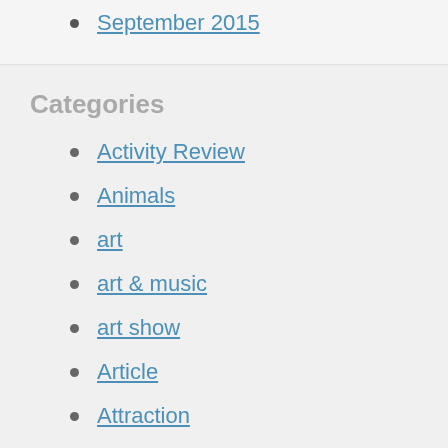September 2015
Categories
Activity Review
Animals
art
art & music
art show
Article
Attraction
Bible Dimension